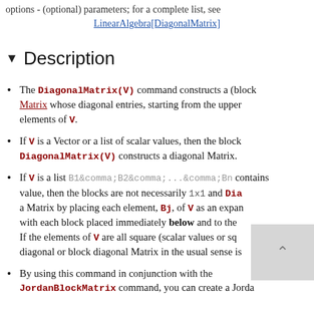options - (optional) parameters; for a complete list, see LinearAlgebra[DiagonalMatrix]
▼ Description
The DiagonalMatrix(V) command constructs a (block) Matrix whose diagonal entries, starting from the upper elements of V.
If V is a Vector or a list of scalar values, then the block DiagonalMatrix(V) constructs a diagonal Matrix.
If V is a list B1&comma;B2&comma;...&comma;Bn containing value, then the blocks are not necessarily 1x1 and Dia a Matrix by placing each element, Bj, of V as an expanded with each block placed immediately below and to the If the elements of V are all square (scalar values or sq diagonal or block diagonal Matrix in the usual sense is
By using this command in conjunction with the JordanBlockMatrix command, you can create a Jordan